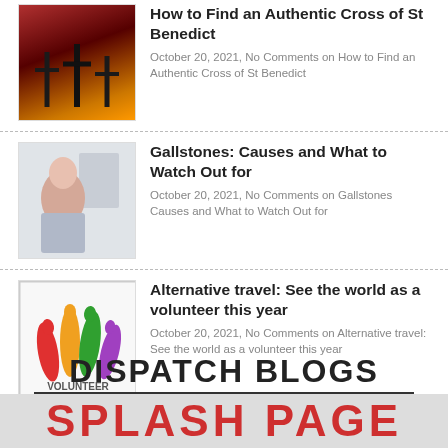How to Find an Authentic Cross of St Benedict
October 20, 2021, No Comments on How to Find an Authentic Cross of St Benedict
Gallstones: Causes and What to Watch Out for
October 20, 2021, No Comments on Gallstones Causes and What to Watch Out for
Alternative travel: See the world as a volunteer this year
October 20, 2021, No Comments on Alternative travel: See the world as a volunteer this year
Rensair Air Purifier Kills Covid and Airborne Particles
October 20, 2021, No Comments on Rensair Air Purifier Kills Covid and Airborne Particles
DISPATCH BLOGS
[Figure (illustration): Partial banner image showing SPLASH PAGE text in red on dark background]